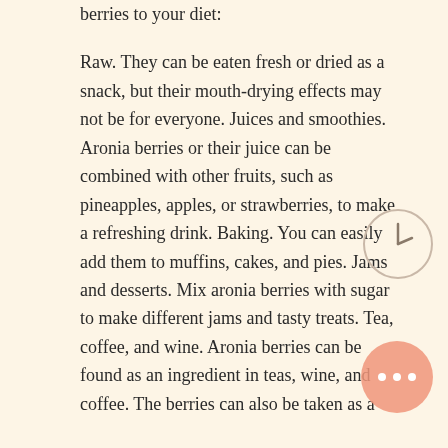Here are some ways to add aronia berries to your diet:
Raw. They can be eaten fresh or dried as a snack, but their mouth-drying effects may not be for everyone.
Juices and smoothies. Aronia berries or their juice can be combined with other fruits, such as pineapples, apples, or strawberries, to make a refreshing drink.
Baking. You can easily add them to muffins, cakes, and pies.
Jams and desserts. Mix aronia berries with sugar to make different jams and tasty treats.
Tea, coffee, and wine. Aronia berries can be found as an ingredient in teas, wine, and coffee.
The berries can also be taken as a